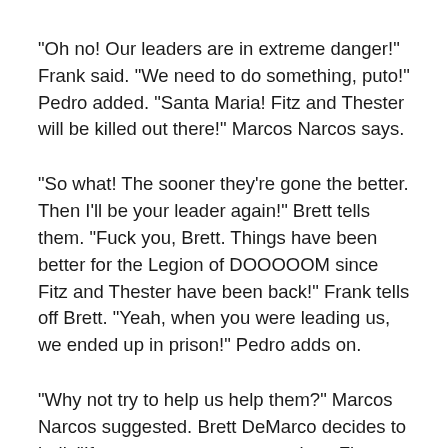"Oh no! Our leaders are in extreme danger!" Frank said. "We need to do something, puto!" Pedro added. "Santa Maria! Fitz and Thester will be killed out there!" Marcos Narcos says.
"So what! The sooner they're gone the better. Then I'll be your leader again!" Brett tells them. "Fuck you, Brett. Things have been better for the Legion of DOOOOOM since Fitz and Thester have been back!" Frank tells off Brett. "Yeah, when you were leading us, we ended up in prison!" Pedro adds on.
"Why not try to help us help them?" Marcos Narcos suggested. Brett DeMarco decides to bail. "If you guys want your precious Fitz back! Get him back yourselves! Be soldatis!" "What the fuck is a soldati?" asked Frank. "It's Italian for solider! Don't you guys know anything! I'm outta here I'm going back to my Pharmecidical